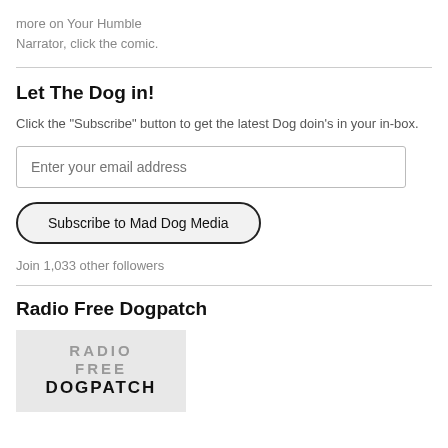more on Your Humble Narrator, click the comic.
Let The Dog in!
Click the "Subscribe" button to get the latest Dog doin's in your in-box.
Enter your email address
Subscribe to Mad Dog Media
Join 1,033 other followers
Radio Free Dogpatch
[Figure (illustration): Radio Free Dogpatch logo image with text RADIO FREE DOGPATCH on light gray background]